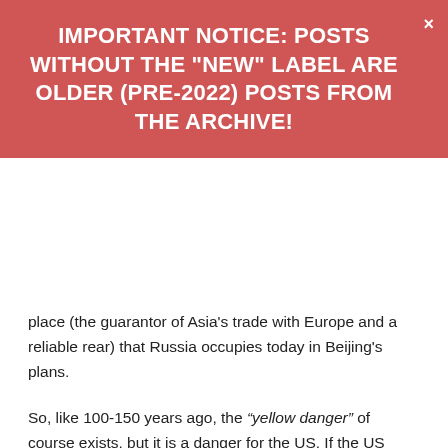IMPORTANT NOTICE: POSTS WITHOUT THE "NEW" LABEL ARE OLDER (PRE-2022) POSTS FROM THE ARCHIVE!
place (the guarantor of Asia's trade with Europe and a reliable rear) that Russia occupies today in Beijing's plans.
So, like 100-150 years ago, the “yellow danger” of course exists, but it is a danger for the US. If the US disappears tomorrow, then you can easily guess to whom Japan, South Korea, and India will run to become strategic allies (Taiwan will capitulate immediately). However, I am afraid that even in this case they will meet a consolidated Russian-Chinese position, and the proposals that will be made to them will be strikingly different for the better from everything that they have been accustomed to doing from